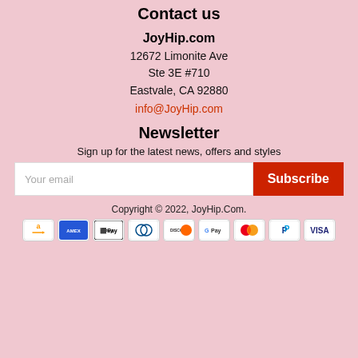Contact us
JoyHip.com
12672 Limonite Ave
Ste 3E #710
Eastvale, CA 92880
info@JoyHip.com
Newsletter
Sign up for the latest news, offers and styles
Your email | Subscribe
Copyright © 2022, JoyHip.Com.
[Figure (other): Payment method icons: Amazon, Amex, Apple Pay, Diners Club, Discover, Google Pay, Mastercard, PayPal, Visa]